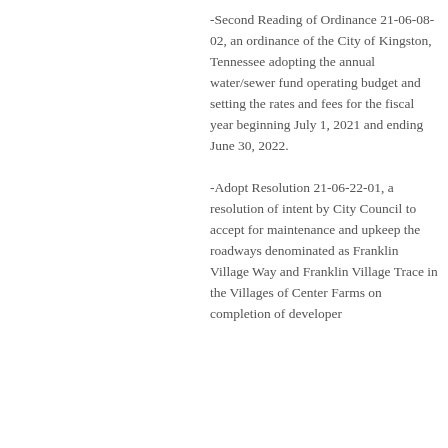-Second Reading of Ordinance 21-06-08-02, an ordinance of the City of Kingston, Tennessee adopting the annual water/sewer fund operating budget and setting the rates and fees for the fiscal year beginning July 1, 2021 and ending June 30, 2022.
-Adopt Resolution 21-06-22-01, a resolution of intent by City Council to accept for maintenance and upkeep the roadways denominated as Franklin Village Way and Franklin Village Trace in the Villages of Center Farms on completion of developer